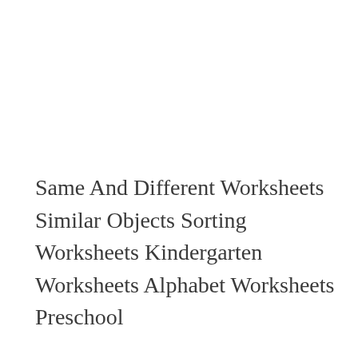Same And Different Worksheets Similar Objects Sorting Worksheets Kindergarten Worksheets Alphabet Worksheets Preschool